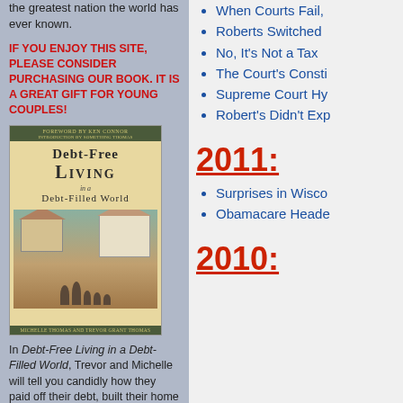the greatest nation the world has ever known.
IF YOU ENJOY THIS SITE, PLEASE CONSIDER PURCHASING OUR BOOK. IT IS A GREAT GIFT FOR YOUNG COUPLES!
[Figure (illustration): Book cover of 'Debt-Free Living in a Debt-Filled World' by Michelle Thomas and Trevor Grant Thomas, with foreword by Ken Connor. Shows two houses and a family outdoors.]
In Debt-Free Living in a Debt-Filled World, Trevor and Michelle will tell you candidly how they paid off their debt, built their home without a mortgage, and
When Courts Fail,
Roberts Switched
No, It's Not a Tax
The Court's Consti
Supreme Court Hy
Robert's Didn't Exp
2011:
Surprises in Wisco
Obamacare Heade
2010: